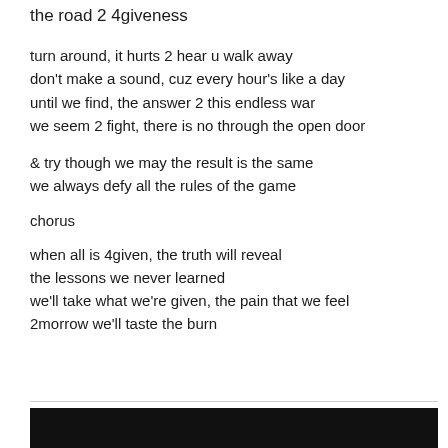the road 2 4giveness
turn around, it hurts 2 hear u walk away
don't make a sound, cuz every hour's like a day
until we find, the answer 2 this endless war
we seem 2 fight, there is no through the open door
& try though we may the result is the same
we always defy all the rules of the game
chorus
when all is 4given, the truth will reveal
the lessons we never learned
we'll take what we're given, the pain that we feel
2morrow we'll taste the burn